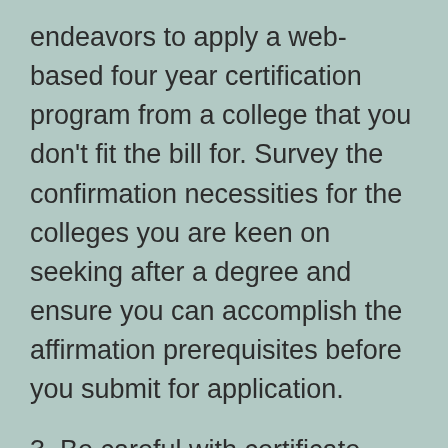endeavors to apply a web-based four year certification program from a college that you don't fit the bill for. Survey the confirmation necessities for the colleges you are keen on seeking after a degree and ensure you can accomplish the affirmation prerequisites before you submit for application.
3. Be careful with certificate plant
Be careful with tricks, the supposed confirmation factories. These internet based organizations are not offering substantial web-based degrees and they simply need to